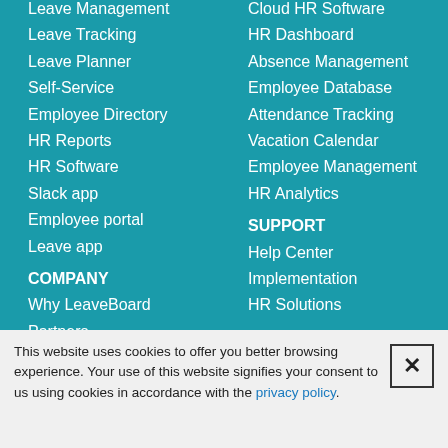Leave Management
Leave Tracking
Leave Planner
Self-Service
Employee Directory
HR Reports
HR Software
Slack app
Employee portal
Leave app
COMPANY
Why LeaveBoard
Partners
Careers
Cloud HR Software
HR Dashboard
Absence Management
Employee Database
Attendance Tracking
Vacation Calendar
Employee Management
HR Analytics
SUPPORT
Help Center
Implementation
HR Solutions
This website uses cookies to offer you better browsing experience. Your use of this website signifies your consent to us using cookies in accordance with the privacy policy.